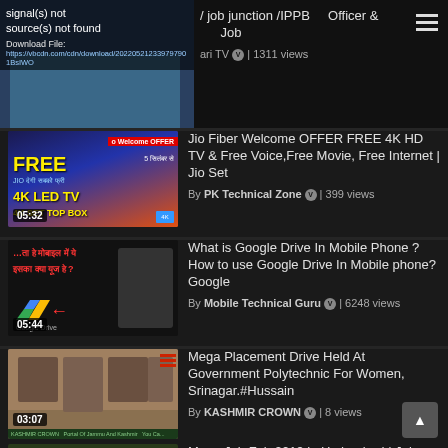[Figure (screenshot): Video thumbnail with error overlay showing 'signal(s) not found' and 'source(s) not found', download URL visible. Face visible in thumbnail.]
/ job junction /IPPB Officer & Job
ari TV | 1311 views
[Figure (screenshot): Video thumbnail: Jio Welcome OFFER FREE 4K LED TV & 4K SET TOP BOX, duration 05:32]
Jio Fiber Welcome OFFER FREE 4K HD TV & Free Voice,Free Movie, Free Internet | Jio Set
By PK Technical Zone | 399 views
[Figure (screenshot): Video thumbnail: What is Google Drive in mobile phone, duration 05:44]
What is Google Drive In Mobile Phone ? How to use Google Drive In Mobile phone? Google
By Mobile Technical Guru | 6248 views
[Figure (screenshot): Video thumbnail: Mega Placement Drive Kashmir Crown, duration 03:07]
Mega Placement Drive Held At Government Polytechnic For Women, Srinagar.#Hussain
By KASHMIR CROWN | 8 views
[Figure (screenshot): Video thumbnail: Mega Job Fair 2019 Hyderabad, duration 04:24]
Mega Job Fair 2019 in Hyderabad | Job Mela |